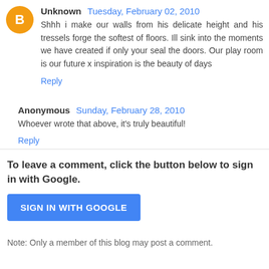Unknown  Tuesday, February 02, 2010
Shhh i make our walls from his delicate height and his tressels forge the softest of floors. Ill sink into the moments we have created if only your seal the doors. Our play room is our future x inspiration is the beauty of days
Reply
Anonymous  Sunday, February 28, 2010
Whoever wrote that above, it's truly beautiful!
Reply
To leave a comment, click the button below to sign in with Google.
[Figure (other): Blue button labeled SIGN IN WITH GOOGLE]
Note: Only a member of this blog may post a comment.